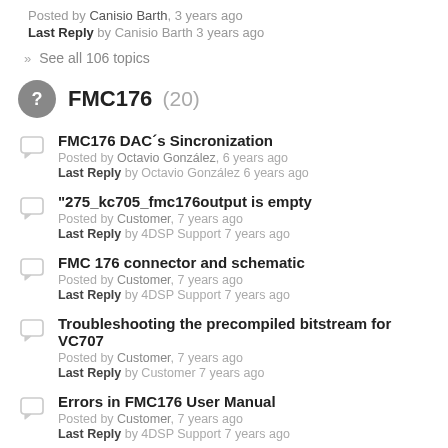Posted by Canisio Barth, 3 years ago
Last Reply by Canisio Barth 3 years ago
>> See all 106 topics
FMC176 (20)
FMC176 DAC´s Sincronization
Posted by Octavio González, 6 years ago
Last Reply by Octavio González 6 years ago
“275_kc705_fmc176output is empty
Posted by Customer, 7 years ago
Last Reply by 4DSP Support 7 years ago
FMC 176 connector and schematic
Posted by Customer, 7 years ago
Last Reply by 4DSP Support 7 years ago
Troubleshooting the precompiled bitstream for VC707
Posted by Customer, 7 years ago
Last Reply by Customer 7 years ago
Errors in FMC176 User Manual
Posted by Customer, 7 years ago
Last Reply by 4DSP Support 7 years ago